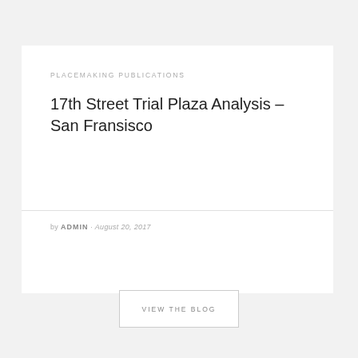PLACEMAKING PUBLICATIONS
17th Street Trial Plaza Analysis – San Fransisco
by ADMIN · August 20, 2017
VIEW THE BLOG